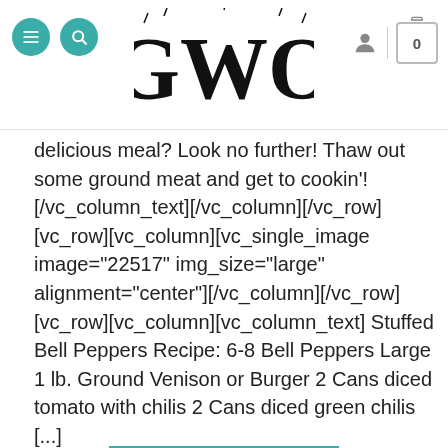GWO website header with navigation icons and logo
delicious meal? Look no further! Thaw out some ground meat and get to cookin'![/vc_column_text][/vc_column][/vc_row][vc_row][vc_column][vc_single_image image="22517" img_size="large" alignment="center"][/vc_column][/vc_row][vc_row][vc_column][vc_column_text] Stuffed Bell Peppers Recipe: 6-8 Bell Peppers Large 1 lb. Ground Venison or Burger 2 Cans diced tomato with chilis 2 Cans diced green chilis [...]
CONTINUE READING →
Posted in Blogs, Field to Plate    Leave a comment
BLOGS, FIELD TO PLATE
STUFFED VENISON BACKSTRAP